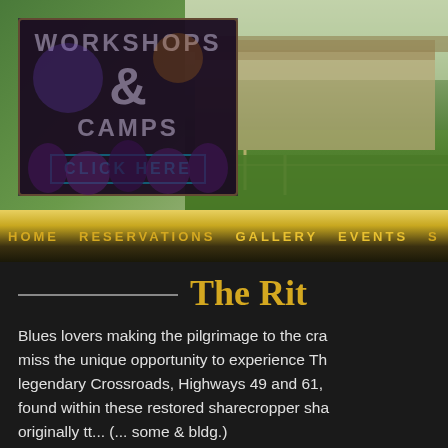[Figure (photo): Website screenshot showing a workshops and camps banner on the left over a dark concert photo, and a barn/farm photo on the right, with a gold-black navigation bar below reading HOME, RESERVATIONS, GALLERY, EVENTS, and a page title 'The Rit...' with body text about blues lovers making a pilgrimage.]
WORKSHOPS & CAMPS CLICK HERE
HOME   RESERVATIONS   GALLERY   EVENTS   S
The Rit
Blues lovers making the pilgrimage to the cra- miss the unique opportunity to experience Th- legendary Crossroads, Highways 49 and 61, found within these restored sharecropper sha- originally tt... (... some & bldg.)